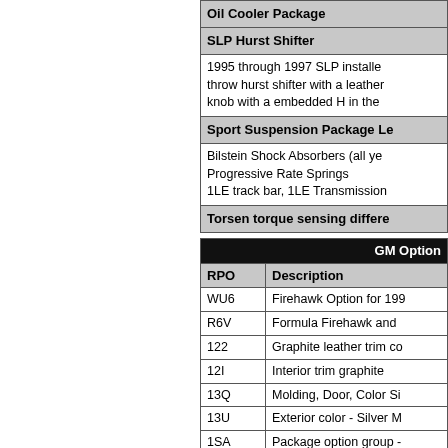|  |
| --- |
| Oil Cooler Package |
| SLP Hurst Shifter |
| 1995 through 1997 SLP installed a short throw hurst shifter with a leather wrapped knob with a embedded H in the |
| Sport Suspension Package Le |
| Bilstein Shock Absorbers (all ye Progressive Rate Springs 1LE track bar, 1LE Transmission |
| Torsen torque sensing differe |
| RPO | Description |
| --- | --- |
| WU6 | Firehawk Option for 199 |
| R6V | Formula Firehawk and |
| 122 | Graphite leather trim co |
| 12I | Interior trim graphite |
| 13Q | Molding, Door, Color Si |
| 13U | Exterior color - Silver M |
| 1SA | Package option group - |
| 2FS87 | Firebird Coupe |